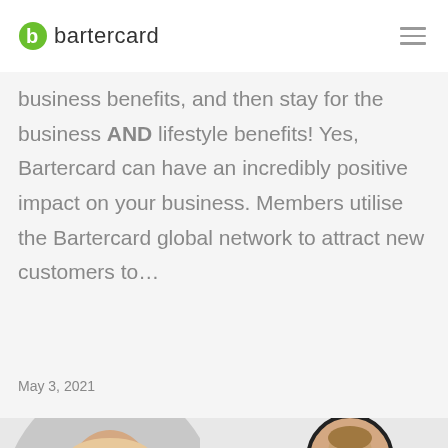bartercard
business benefits, and then stay for the business AND lifestyle benefits! Yes, Bartercard can have an incredibly positive impact on your business. Members utilise the Bartercard global network to attract new customers to…
May 3, 2021
[Figure (photo): Network illustration with circular portrait photos of people connected by lines, partially visible at the bottom of the page]